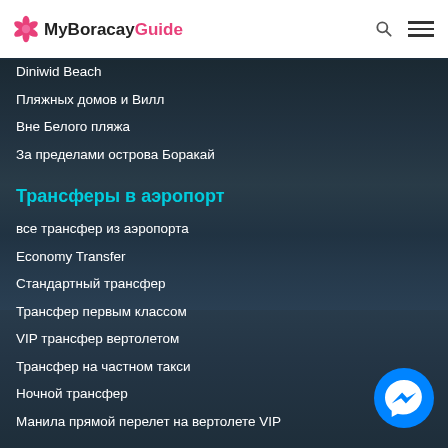MyBoracayGuide
Diniwid Beach
Пляжных домов и Вилл
Вне Белого пляжа
За пределами острова Боракай
Трансферы в аэропорт
все трансфер из аэропорта
Economy Transfer
Стандартный трансфер
Трансфер первым классом
VIP трансфер вертолетом
Трансфер на частном такси
Ночной трансфер
Манила прямой перелет на вертолете VIP
виды деятельности
все развлечения
Boat Charters